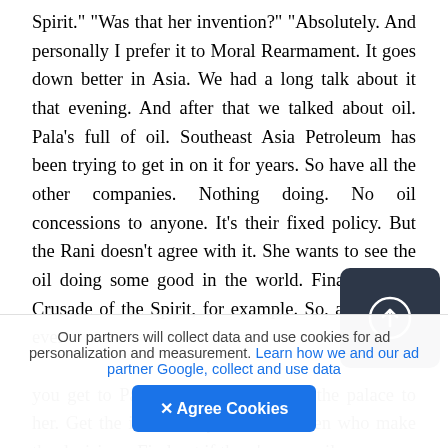Spirit." "Was that her invention?" "Absolutely. And personally I prefer it to Moral Rearmament. It goes down better in Asia. We had a long talk about it that evening. And after that we talked about oil. Pala's full of oil. Southeast Asia Petroleum has been trying to get in on it for years. So have all the other companies. Nothing doing. No oil concessions to anyone. It's their fixed policy. But the Rani doesn't agree with it. She wants to see the oil doing some good in the world. Financing the Crusade of the Spirit, for example. So, as I say, if ever you get to Pala, make a beeline for the palace to her. Get the inside story about the men who make the decisions. Find out if there's a pro-oil
[Figure (other): Dark rounded square button with a white circle-arrow (upload/navigate) icon]
Our partners will collect data and use cookies for ad personalization and measurement. Learn how we and our ad partner Google, collect and use data
✕ Agree Cookies